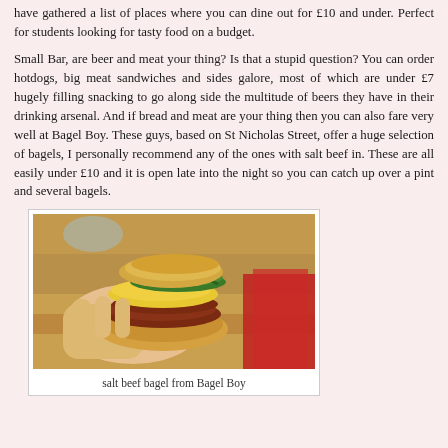have gathered a list of places where you can dine out for £10 and under. Perfect for students looking for tasty food on a budget.
Small Bar, are beer and meat your thing? Is that a stupid question? You can order hotdogs, big meat sandwiches and sides galore, most of which are under £7 hugely filling snacking to go along side the multitude of beers they have in their drinking arsenal. And if bread and meat are your thing then you can also fare very well at Bagel Boy. These guys, based on St Nicholas Street, offer a huge selection of bagels, I personally recommend any of the ones with salt beef in. These are all easily under £10 and it is open late into the night so you can catch up over a pint and several bagels.
[Figure (photo): Photo of a hand holding a salt beef bagel with egg, green vegetables and meat filling, taken at a table with a red bag visible in the background.]
salt beef bagel from Bagel Boy